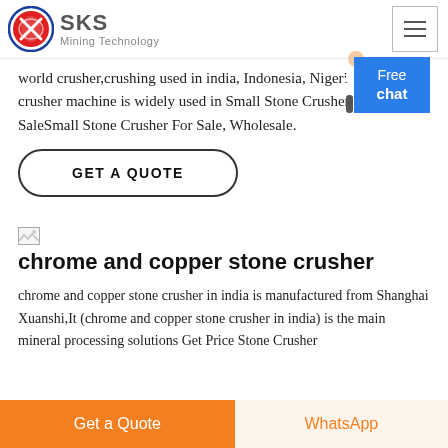[Figure (logo): SKS Mining Technology logo with red and blue circle emblem and company name]
world crusher,crushing used in india, Indonesia, Nigeria small stone crusher machine is widely used in Small Stone Crusher For SaleSmall Stone Crusher For Sale, Wholesale.
GET A QUOTE
[Figure (other): Free chat button bubble in blue with person illustration]
[Figure (photo): Broken/missing image icon]
chrome and copper stone crusher
chrome and copper stone crusher in india is manufactured from Shanghai Xuanshi,It (chrome and copper stone crusher in india) is the main mineral processing solutions Get Price Stone Crusher
Get a Quote
WhatsApp